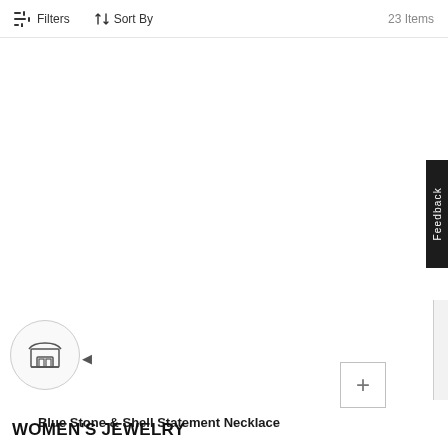Filters  Sort By  23 Items
[Figure (other): Plus icon button in a square border for adding item to cart]
Blue Stone & Shell Statement Necklace
$32.99  $75.00
1
[Figure (other): Store/shop chat icon in a circular frame with left arrow]
WOMEN'S JEWELRY